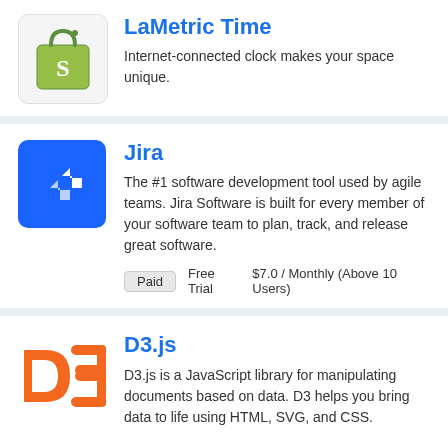[Figure (logo): Shopify green shopping bag logo on light gray background]
LaMetric Time
Internet-connected clock makes your space unique.
[Figure (logo): Jira logo - white arrow/chevron icon on blue background]
Jira
The #1 software development tool used by agile teams. Jira Software is built for every member of your software team to plan, track, and release great software.
Paid   Free Trial   $7.0 / Monthly (Above 10 Users)
[Figure (logo): D3.js orange logo]
D3.js
D3.js is a JavaScript library for manipulating documents based on data. D3 helps you bring data to life using HTML, SVG, and CSS.